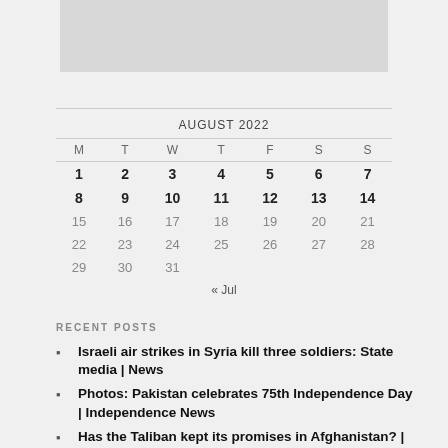[Figure (other): Gray image placeholder at top of page]
| M | T | W | T | F | S | S |
| --- | --- | --- | --- | --- | --- | --- |
| 1 | 2 | 3 | 4 | 5 | 6 | 7 |
| 8 | 9 | 10 | 11 | 12 | 13 | 14 |
| 15 | 16 | 17 | 18 | 19 | 20 | 21 |
| 22 | 23 | 24 | 25 | 26 | 27 | 28 |
| 29 | 30 | 31 |  |  |  |  |
« Jul
RECENT POSTS
Israeli air strikes in Syria kill three soldiers: State media | News
Photos: Pakistan celebrates 75th Independence Day | Independence News
Has the Taliban kept its promises in Afghanistan? | Taliban
Hundreds rally in Sudan to support military-backed